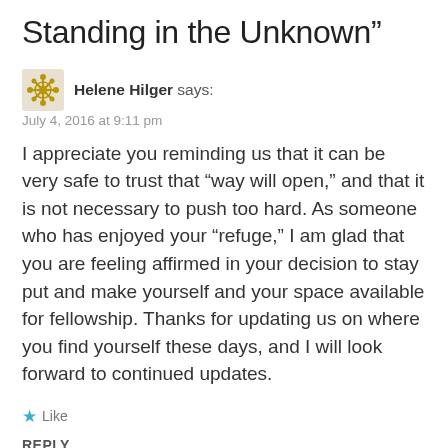Standing in the Unknown”
Helene Hilger says:
July 4, 2016 at 9:11 pm
I appreciate you reminding us that it can be very safe to trust that “way will open,” and that it is not necessary to push too hard. As someone who has enjoyed your “refuge,” I am glad that you are feeling affirmed in your decision to stay put and make yourself and your space available for fellowship. Thanks for updating us on where you find yourself these days, and I will look forward to continued updates.
★ Like
REPLY